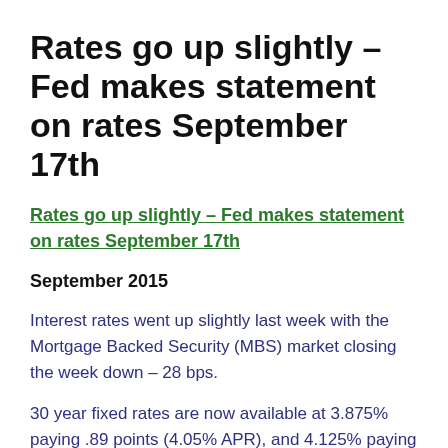Rates go up slightly – Fed makes statement on rates September 17th
Rates go up slightly – Fed makes statement on rates September 17th
September 2015
Interest rates went up slightly last week with the Mortgage Backed Security (MBS) market closing the week down – 28 bps.
30 year fixed rates are now available at 3.875% paying .89 points (4.05% APR), and 4.125% paying 0 points